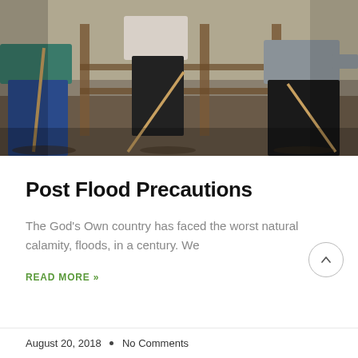[Figure (photo): Three people cleaning up inside a flood-damaged building with exposed wooden framing, sweeping debris with brooms and mops.]
Post Flood Precautions
The God's Own country has faced the worst natural calamity, floods, in a century. We
READ MORE »
August 20, 2018  •  No Comments